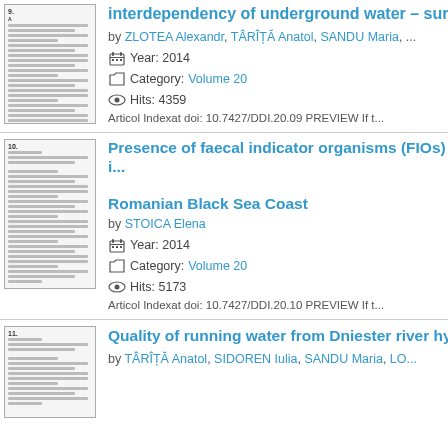[Figure (illustration): Thumbnail of article 9 document page]
interdependency of underground water – surf...
by ZLOTEA Alexandr, TÂRÎȚĂ Anatol, SANDU Maria, ...
Year: 2014
Category: Volume 20
Hits: 4359
Articol Indexat doi: 10.7427/DDI.20.09 PREVIEW If t...
[Figure (illustration): Thumbnail of article 10 document page]
Presence of faecal indicator organisms (FIOs) i... Romanian Black Sea Coast
by STOICA Elena
Year: 2014
Category: Volume 20
Hits: 5173
Articol Indexat doi: 10.7427/DDI.20.10 PREVIEW If t...
[Figure (illustration): Thumbnail of article 11 document page]
Quality of running water from Dniester river hy...
by TÂRÎȚĂ Anatol, SIDOREN Iulia, SANDU Maria, LO...